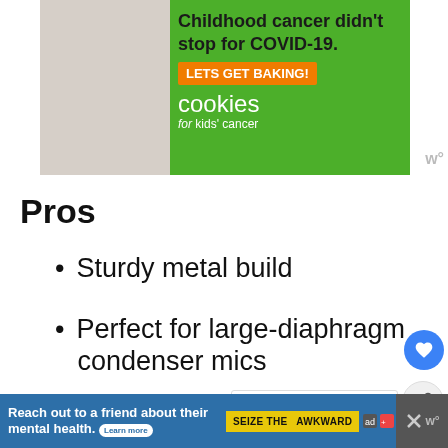[Figure (photo): Advertisement for Cookies for Kids' Cancer charity: photo of child holding a jar of money, green background, text 'Childhood cancer didn't stop for COVID-19. LETS GET BAKING! cookies for kids' cancer']
Pros
Sturdy metal build
Perfect for large-diaphragm condenser mics
3/8–5/8-inch screw adapter included
[Figure (infographic): WHAT'S NEXT panel with illustration and text '717 Good Research...']
[Figure (infographic): Bottom banner ad: 'Reach out to a friend about their mental health. Learn more' with SEIZE THE AWKWARD badge]